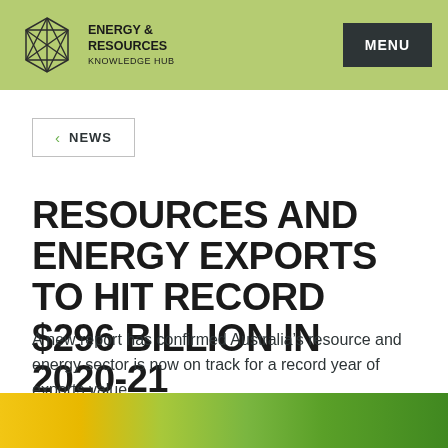ENERGY & RESOURCES KNOWLEDGE HUB | MENU
< NEWS
RESOURCES AND ENERGY EXPORTS TO HIT RECORD $296 BILLION IN 2020-21
A new report has confirmed Australia's resource and energy sector is now on track for a record year of exports value.
[Figure (photo): Bottom image strip showing yellow and green colors, likely a field or agricultural scene.]